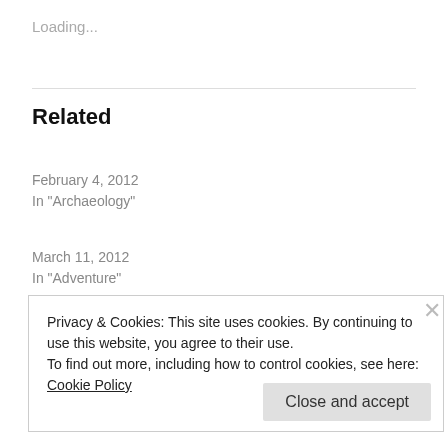Loading...
Related
Vietnam: the Plan
February 4, 2012
In "Archaeology"
When The Rain Comes
March 11, 2012
In "Adventure"
Privacy & Cookies: This site uses cookies. By continuing to use this website, you agree to their use.
To find out more, including how to control cookies, see here: Cookie Policy
Close and accept